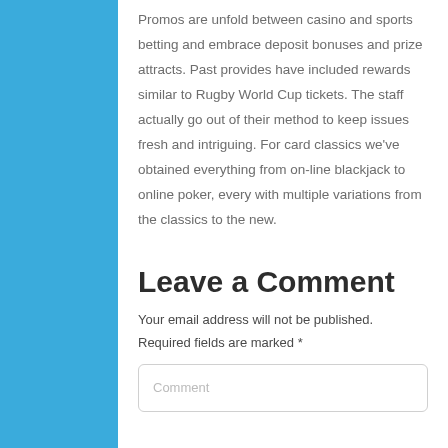Promos are unfold between casino and sports betting and embrace deposit bonuses and prize attracts. Past provides have included rewards similar to Rugby World Cup tickets. The staff actually go out of their method to keep issues fresh and intriguing. For card classics we've obtained everything from on-line blackjack to online poker, every with multiple variations from the classics to the new.
Leave a Comment
Your email address will not be published.
Required fields are marked *